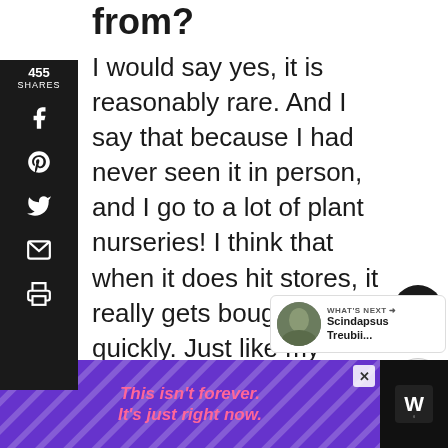from?
I would say yes, it is reasonably rare. And I say that because I had never seen it in person, and I go to a lot of plant nurseries! I think that when it does hit stores, it really gets bought up quickly. Just like my friend did for of us when she saw them at the grocery store! Love good grocery store finds.
[Figure (infographic): Social sharing sidebar with share count 455 SHARES and icons for Facebook, Pinterest, Twitter, Email, Print on dark background]
[Figure (infographic): Heart button with count 489 and share button overlay on right side]
[Figure (infographic): What's Next panel showing Scindapsus Treubii... with thumbnail]
[Figure (infographic): Advertisement banner: This isn't forever. It's just right now. Purple background with pink text and close button]